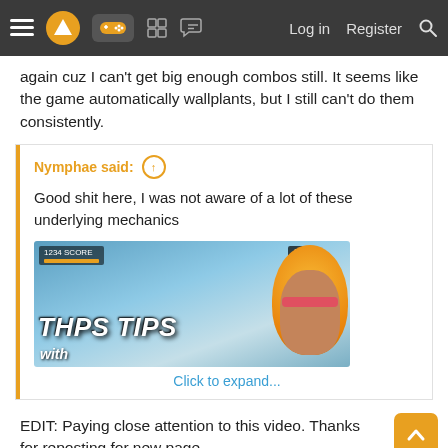Navigation bar with menu, logo, controller icon, grid icon, chat icon, Log in, Register, Search
again cuz I can't get big enough combos still. It seems like the game automatically wallplants, but I still can't do them consistently.
Nymphae said: ↑
Good shit here, I was not aware of a lot of these underlying mechanics
[THPS TIPS video thumbnail]
Click to expand...
EDIT: Paying close attention to this video. Thanks for reposting for new page.

in other news, anyone think the loading screens will be instant on series x?